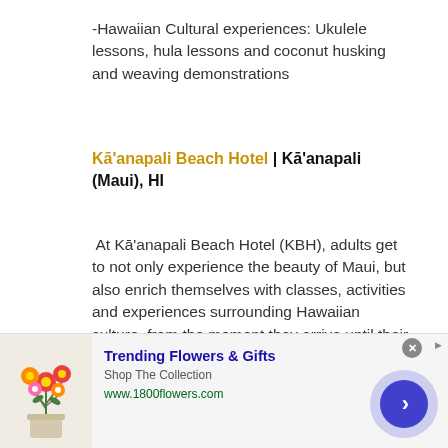-Hawaiian Cultural experiences: Ukulele lessons, hula lessons and coconut husking and weaving demonstrations
Kā'anapali Beach Hotel | Kā'anapali (Maui), HI
At Kā'anapali Beach Hotel (KBH), adults get to not only experience the beauty of Maui, but also enrich themselves with classes, activities and experiences surrounding Hawaiian culture, from the moment they arrive until their Farewell Lei Kukui ceremony. From ocean activities center
[Figure (other): Advertisement banner for Trending Flowers & Gifts from 1800flowers.com, showing a bouquet of flowers, a forward navigation arrow button, and a close button.]